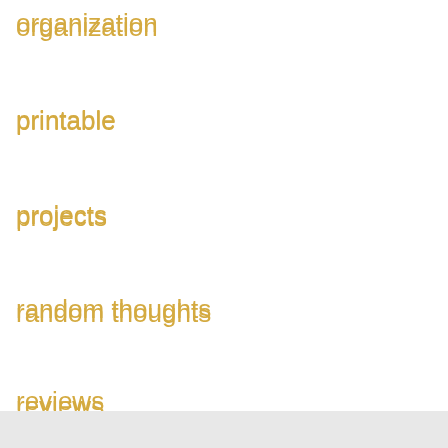organization
printable
projects
random thoughts
reviews
shop
travel
Uncategorized